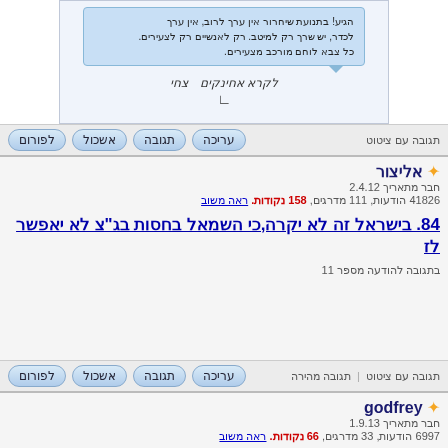[Figure (screenshot): Top of a Hebrew forum post with a speech bubble image containing Hebrew text, a signature area with handwritten-style text, and action buttons (עריכה, תגובה, אשכול, לפורום) at the bottom.]
תגובה עם ציטוט
אליצור
חבר מתאריך 2.4.12
41826 הודעות, 111 מדרגים, 158 נקודות. ראה משוב
84. בישראל זה לא יקרה,כי השמאל בחסות בג"צ לא יאפשר לז
בתגובה להודעה מספר 11
תגובה עם ציטוט | תגובה מהירה
godfrey
חבר מתאריך 1.9.13
6997 הודעות, 33 מדרגים, 66 נקודות. ראה משוב
13. במקביל להסרה
בתגובה להודעה מספר 0